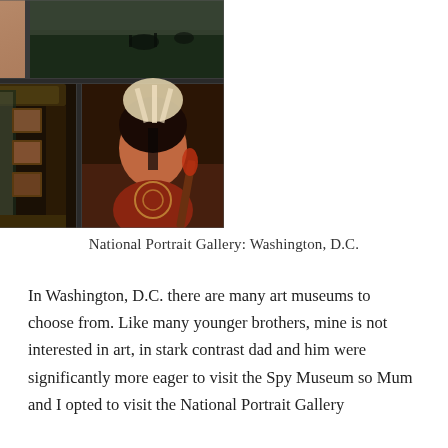[Figure (photo): Photo collage of museum exhibits: top row shows two landscape/portrait paintings; bottom row shows a large decorative cabinet display case with miniature portraits and artifacts (left), and a colorful Native American portrait painting (right).]
National Portrait Gallery: Washington, D.C.
In Washington, D.C. there are many art museums to choose from. Like many younger brothers, mine is not interested in art, in stark contrast dad and him were significantly more eager to visit the Spy Museum so Mum and I opted to visit the National Portrait Gallery